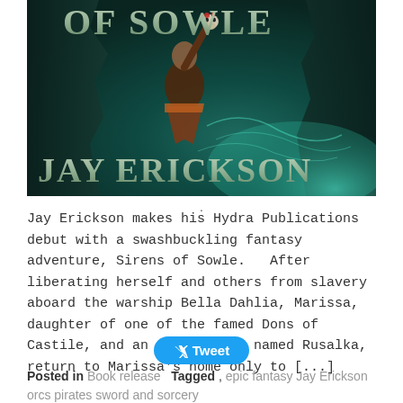[Figure (illustration): Book cover for 'Sirens of Sowle' by Jay Erickson published by Hydra Publications. Dark teal fantasy illustration showing a warrior figure holding a skull aloft against a rocky background with swirling water. Large stone-textured letters at top read 'OF SOWLE' and author name 'JAY ERICKSON' in large serif letters at bottom.]
Jay Erickson makes his Hydra Publications debut with a swashbuckling fantasy adventure, Sirens of Sowle.   After liberating herself and others from slavery aboard the warship Bella Dahlia, Marissa, daughter of one of the famed Dons of Castile, and an orc warrior named Rusalka, return to Marissa’s home only to [...]
Tweet
Posted in Book release   Tagged , epic fantasy Jay Erickson orcs pirates sword and sorcery